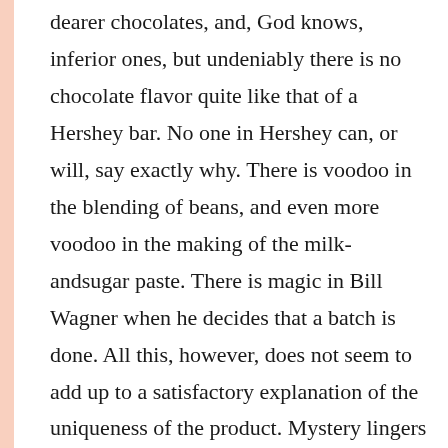dearer chocolates, and, God knows, inferior ones, but undeniably there is no chocolate flavor quite like that of a Hershey bar. No one in Hershey can, or will, say exactly why. There is voodoo in the blending of beans, and even more voodoo in the making of the milk-andsugar paste. There is magic in Bill Wagner when he decides that a batch is done. All this, however, does not seem to add up to a satisfactory explanation of the uniqueness of the product. Mystery lingers on. Notice, though, in the conching rooms, what is happening to the granite rollers rolling